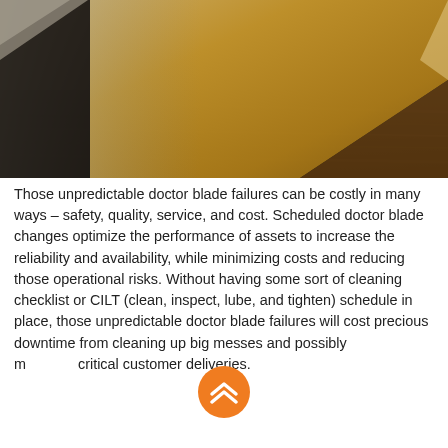[Figure (photo): Close-up photo of a metallic doctor blade or sheet metal with a gold/bronze triangular reflective surface against a dark brushed metal background]
Those unpredictable doctor blade failures can be costly in many ways – safety, quality, service, and cost. Scheduled doctor blade changes optimize the performance of assets to increase the reliability and availability, while minimizing costs and reducing those operational risks. Without having some sort of cleaning checklist or CILT (clean, inspect, lube, and tighten) schedule in place, those unpredictable doctor blade failures will cost precious downtime from cleaning up big messes and possibly m  critical customer deliveries.